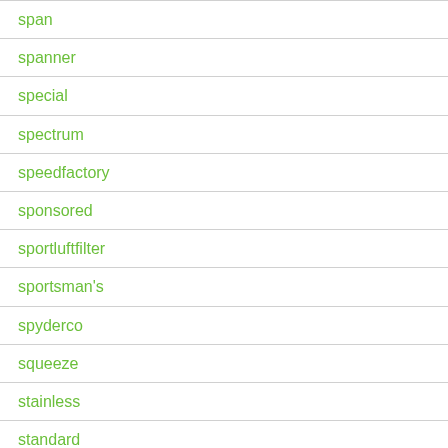| span |
| spanner |
| special |
| spectrum |
| speedfactory |
| sponsored |
| sportluftfilter |
| sportsman's |
| spyderco |
| squeeze |
| stainless |
| standard |
| star |